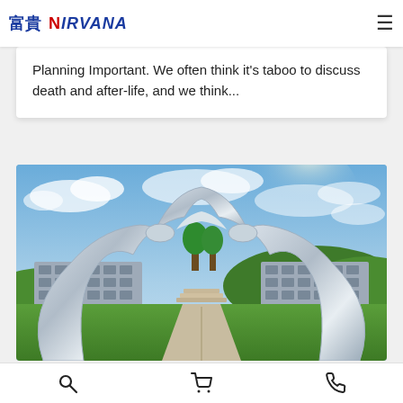富貴 Nirvana — navigation header with logo and hamburger menu
Planning Important. We often think it's taboo to discuss death and after-life, and we think...
[Figure (photo): A cemetery park with a large chrome Buddha-silhouette arch sculpture in the foreground, framing a path lined with trees leading to rows of burial niches, under a blue sky with clouds.]
Bottom navigation bar with search, cart, and phone icons